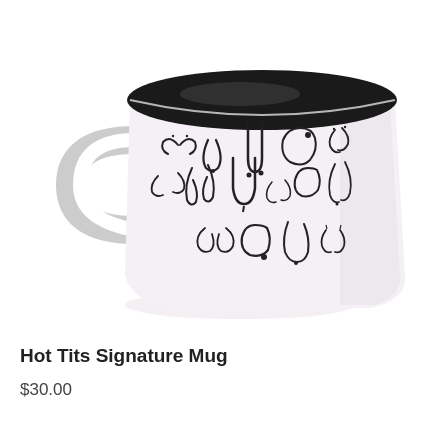[Figure (photo): A white ceramic coffee mug with a black interior, decorated with various line-drawing illustrations of breasts in different shapes and sizes arranged in rows around the exterior of the mug. The mug has a handle on the left side.]
Hot Tits Signature Mug
$30.00